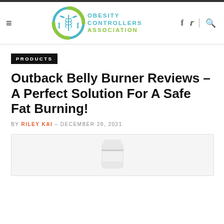[Figure (logo): Obesity Controllers Association logo with circular teal/green emblem and text]
PRODUCTS
Outback Belly Burner Reviews – A Perfect Solution For A Safe Fat Burning!
BY RILEY KAI – DECEMBER 28, 2021
[Figure (photo): Product bottle image for Outback Belly Burner supplement]